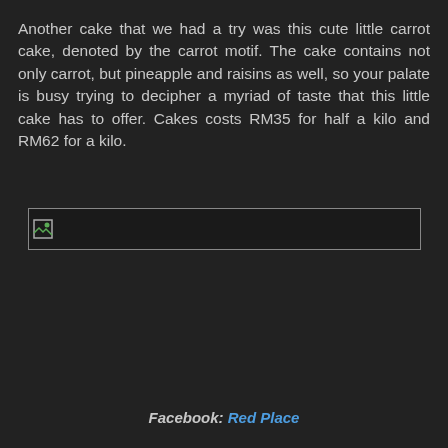Another cake that we had a try was this cute little carrot cake, denoted by the carrot motif. The cake contains not only carrot, but pineapple and raisins as well, so your palate is busy trying to decipher a myriad of taste that this little cake has to offer. Cakes costs RM35 for half a kilo and RM62 for a kilo.
[Figure (photo): A broken/unloaded image placeholder showing a small image icon in the top-left corner, displayed as a wide horizontal rectangle with a border.]
Facebook: Red Place